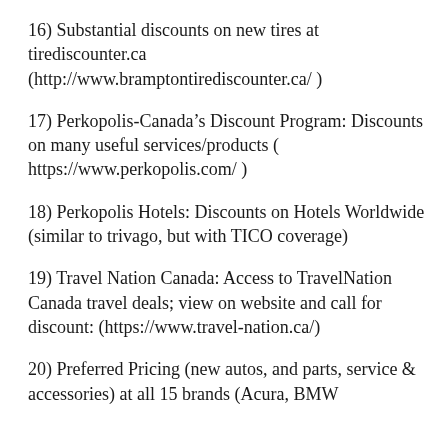16) Substantial discounts on new tires at tirediscounter.ca (http://www.bramptontirediscounter.ca/ )
17) Perkopolis-Canada's Discount Program: Discounts on many useful services/products ( https://www.perkopolis.com/ )
18) Perkopolis Hotels: Discounts on Hotels Worldwide (similar to trivago, but with TICO coverage)
19) Travel Nation Canada: Access to TravelNation Canada travel deals; view on website and call for discount: (https://www.travel-nation.ca/)
20) Preferred Pricing (new autos, and parts, service & accessories) at all 15 brands (Acura, BMW